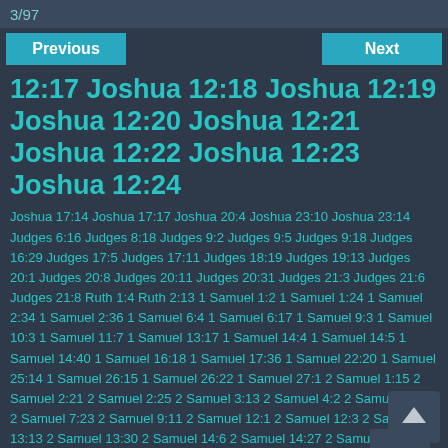3/97
Previous   Next
12:17 Joshua 12:18 Joshua 12:19 Joshua 12:20 Joshua 12:21 Joshua 12:22 Joshua 12:23 Joshua 12:24
Joshua 17:14 Joshua 17:17 Joshua 20:4 Joshua 23:10 Joshua 23:14 Judges 6:16 Judges 8:18 Judges 9:2 Judges 9:5 Judges 9:18 Judges 16:29 Judges 17:5 Judges 17:11 Judges 18:19 Judges 19:13 Judges 20:1 Judges 20:8 Judges 20:11 Judges 20:31 Judges 21:3 Judges 21:6 Judges 21:8 Ruth 1:4 Ruth 2:13 1 Samuel 1:2 1 Samuel 1:24 1 Samuel 2:34 1 Samuel 2:36 1 Samuel 6:4 1 Samuel 6:17 1 Samuel 9:3 1 Samuel 10:3 1 Samuel 11:7 1 Samuel 13:17 1 Samuel 14:4 1 Samuel 14:5 1 Samuel 14:40 1 Samuel 16:18 1 Samuel 17:36 1 Samuel 22:20 1 Samuel 25:14 1 Samuel 26:15 1 Samuel 26:22 1 Samuel 27:1 2 Samuel 1:15 2 Samuel 2:21 2 Samuel 2:25 2 Samuel 3:13 2 Samuel 4:2 2 Samuel 6:20 2 Samuel 7:23 2 Samuel 9:11 2 Samuel 12:1 2 Samuel 12:3 2 Samuel 13:13 2 Samuel 13:30 2 Samuel 14:6 2 Samuel 14:27 2 Samuel 17:12 2 Samuel 17:22 2 Samuel 19:14 2 Samuel 23:8 2 Samuel 1 Kings 2:16 1 Kings 2:20 1 Kings 3:17 1 Kings 3:25 1 Kings 4:22 1 Kings 5:24 1 Kings 5:2 1 Kings 5:26 1 Kings 7:27 1 Kings …